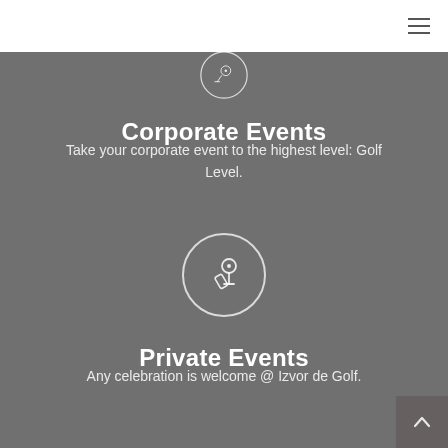[Figure (illustration): Hamburger menu icon (three horizontal lines) in top right corner]
[Figure (illustration): Circular icon with golf ball and tee symbol, partially cut at top of gray section]
Corporate Events
Take your corporate event to the highest level: Golf Level.
[Figure (illustration): Circular icon with microphone symbol]
Private Events
Any celebration is welcome @ Izvor de Golf.
[Figure (illustration): Back to top arrow button in bottom right corner]